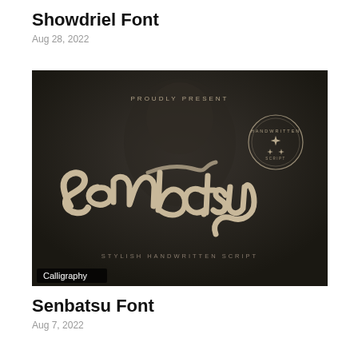Showdriel Font
Aug 28, 2022
[Figure (illustration): Dark atmospheric promotional image for Senbatsu Font showing the word 'Senbatsu' written in a decorative tan/beige calligraphy script over a dark background with a blurred figure. Text reads 'PROUDLY PRESENT' at top, a circular badge saying 'HANDWRITTEN' on right, and 'STYLISH HANDWRITTEN SCRIPT' at bottom. A 'Calligraphy' label badge appears in the lower left corner.]
Senbatsu Font
Aug 7, 2022